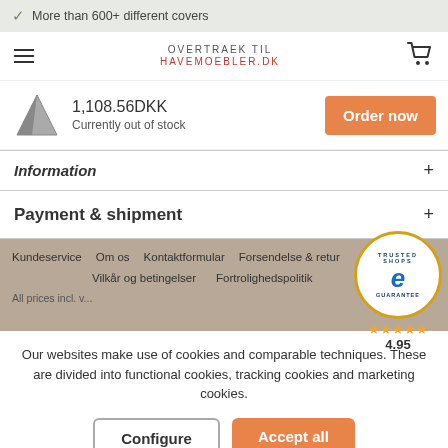More than 600+ different covers
OVERTRAEK TIL HAVEMOEBLER.DK
1,108.56DKK
Currently out of stock
Order now
Information
Payment & shipment
Kundeservice   Om os   Kontaktformular   Forsendelse & retur
Vilkår og betingelser   Fortrolighedspolitik
All prices incl. v...
[Figure (logo): Trusted Shops guarantee badge with gold border, blue e logo, 5 stars, rating 4.95]
Our websites make use of cookies and comparable techniques. These are divided into functional cookies, tracking cookies and marketing cookies.
Configure
Accept all